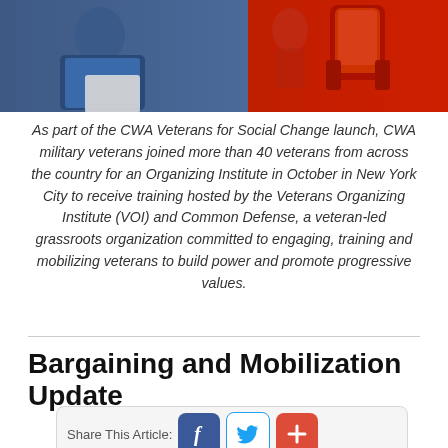[Figure (photo): Photo of CWA veterans at an Organizing Institute event; left side shows a person in blue shirt holding a document/tablet, right side shows red equipment or furniture in the background.]
As part of the CWA Veterans for Social Change launch, CWA military veterans joined more than 40 veterans from across the country for an Organizing Institute in October in New York City to receive training hosted by the Veterans Organizing Institute (VOI) and Common Defense, a veteran-led grassroots organization committed to engaging, training and mobilizing veterans to build power and promote progressive values.
Bargaining and Mobilization Update
Share This Article: